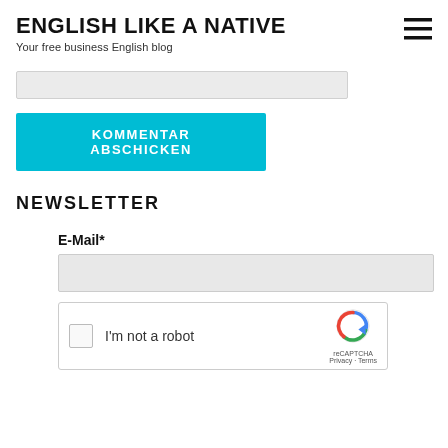ENGLISH LIKE A NATIVE
Your free business English blog
[Figure (screenshot): Text input field (partially visible, grey background)]
KOMMENTAR ABSCHICKEN
NEWSLETTER
E-Mail*
[Figure (screenshot): Email input field (grey background)]
[Figure (screenshot): reCAPTCHA widget: checkbox labeled 'I'm not a robot' with reCAPTCHA logo, Privacy and Terms links]